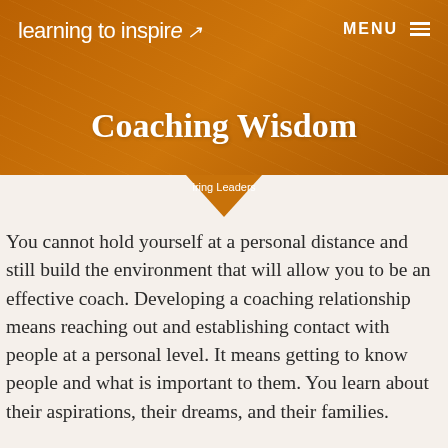[Figure (photo): Website screenshot header banner with orange/amber tinted photo of hands holding a phone, showing the Learning to Inspire website with navigation logo and MENU button]
Coaching Wisdom
Inspiring Leaders
You cannot hold yourself at a personal distance and still build the environment that will allow you to be an effective coach. Developing a coaching relationship means reaching out and establishing contact with people at a personal level. It means getting to know people and what is important to them. You learn about their aspirations, their dreams, and their families.
A personal connection with your associates is